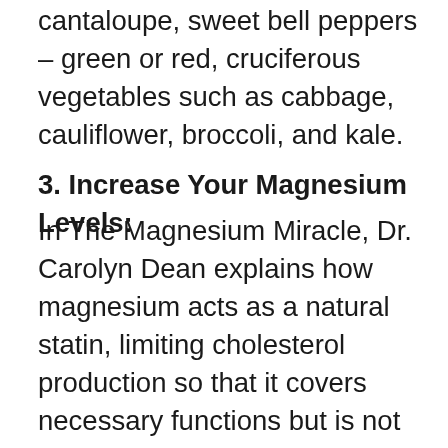cantaloupe, sweet bell peppers – green or red, cruciferous vegetables such as cabbage, cauliflower, broccoli, and kale.
3. Increase Your Magnesium Levels:
In The Magnesium Miracle, Dr. Carolyn Dean explains how magnesium acts as a natural statin, limiting cholesterol production so that it covers necessary functions but is not produced in excess. Foods that are high in magnesium include kelp, wheat bran, wheat germ, almonds, cashews, molasses, brewer's yeast, buckwheat, brazil nuts, dulse, filberts, peanuts, wheat grain, millet, pecans, English walnuts, rye, tofu, and dark chocolate. It may